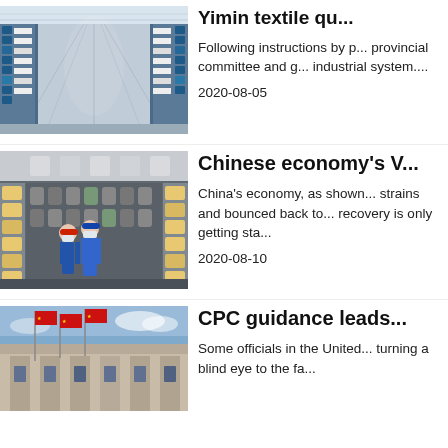[Figure (photo): Interior of a textile/manufacturing factory with long rows of industrial machinery and blue equipment racks]
Yimin textile qu...
Following instructions by provincial committee and g... industrial system....
2020-08-05
[Figure (photo): Two workers in blue uniforms and masks standing among industrial machinery rolls in a factory]
Chinese economy's V...
China's economy, as shown... strains and bounced back to... recovery is only getting sta...
2020-08-10
[Figure (photo): Building exterior with red flags, classical architecture visible against blue sky]
CPC guidance leads...
Some officials in the United... turning a blind eye to the fa...